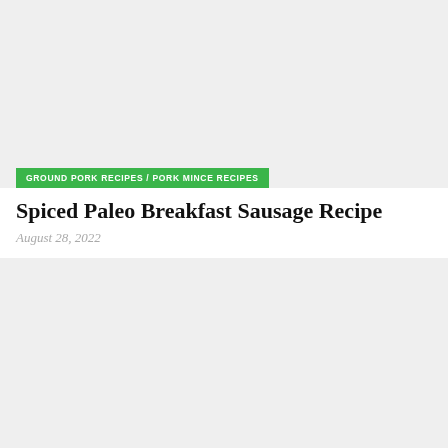[Figure (photo): Large image placeholder with light gray background, top card]
GROUND PORK RECIPES / PORK MINCE RECIPES
Spiced Paleo Breakfast Sausage Recipe
August 28, 2022
[Figure (photo): Large image placeholder with light gray background, bottom card]
GROUND PORK RECIPES / PORK MINCE RECIPES